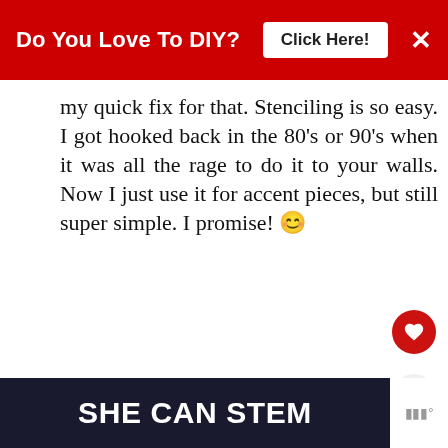Do You Love To DIY? Click Here! ×
my quick fix for that. Stenciling is so easy. I got hooked back in the 80's or 90's when it was all the rage to do it to your walls. Now I just use it for accent pieces, but still super simple. I promise! 😊
DELETE
REPLY
WHAT'S NEXT → Placemat To Pillow In Les...
Mary K
[Figure (infographic): SHE CAN STEM advertisement banner in dark background with white bold text]